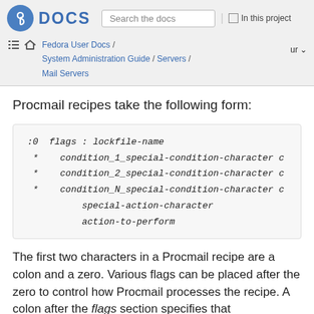Fedora DOCS | Search the docs | In this project | Fedora User Docs / System Administration Guide / Servers / Mail Servers | ur
Procmail recipes take the following form:
The first two characters in a Procmail recipe are a colon and a zero. Various flags can be placed after the zero to control how Procmail processes the recipe. A colon after the flags section specifies that